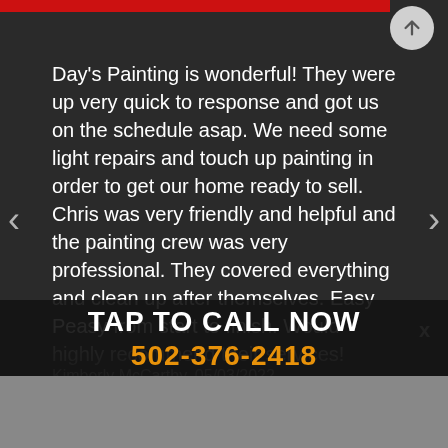Day's Painting is wonderful! They were very quick to response and got us on the schedule asap. We need some light repairs and touch up painting in order to get our home ready to sell. Chris was very friendly and helpful and the painting crew was very professional. They covered everything and clean up after themselves. Easy Peasy from start to finish. Would highly recommend their services!
Kimberly McCarthy, 05/03/2022
TAP TO CALL NOW
502-376-2418